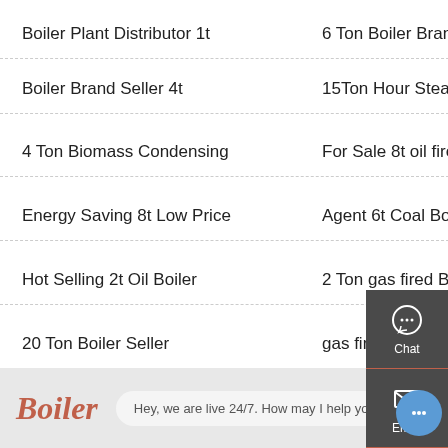Boiler Plant Distributor 1t | 6 Ton Boiler Brand Georgia
Boiler Brand Seller 4t | 15Ton Hour Steam Boiler
4 Ton Biomass Condensing | For Sale 8t oil fired Boiler
Energy Saving 8t Low Price | Agent 6t Coal Boiler
Hot Selling 2t Oil Boiler | 2 Ton gas fired Boiler
20 Ton Boiler Seller | gas fired boiler for noo...
Boiler | Hey, we are live 24/7. How may I help you?